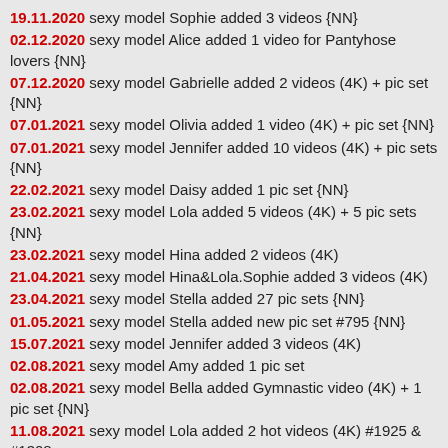19.11.2020 sexy model Sophie added 3 videos {NN}
02.12.2020 sexy model Alice added 1 video for Pantyhose lovers {NN}
07.12.2020 sexy model Gabrielle added 2 videos (4K) + pic set {NN}
07.01.2021 sexy model Olivia added 1 video (4K) + pic set {NN}
07.01.2021 sexy model Jennifer added 10 videos (4K) + pic sets {NN}
22.02.2021 sexy model Daisy added 1 pic set {NN}
23.02.2021 sexy model Lola added 5 videos (4K) + 5 pic sets {NN}
23.02.2021 sexy model Hina added 2 videos (4K)
21.04.2021 sexy model Hina&Lola.Sophie added 3 videos (4K)
23.04.2021 sexy model Stella added 27 pic sets {NN}
01.05.2021 sexy model Stella added new pic set #795 {NN}
15.07.2021 sexy model Jennifer added 3 videos (4K)
02.08.2021 sexy model Amy added 1 pic set
02.08.2021 sexy model Bella added Gymnastic video (4K) + 1 pic set {NN}
11.08.2021 sexy model Lola added 2 hot videos (4K) #1925 & #1308
09.09.2021 sexy model Mia added Gymnastic video (4K) + 2 pic sets {NN}
03.01.2022 sexy model Amy added 2 pic sets
13.02.2022 Brima model BEST puffy tits (FULL NUDE) With surprise at the end